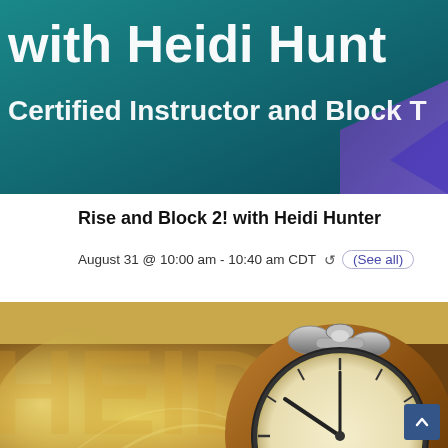[Figure (photo): Top banner image with teal/dark blue background showing partial text 'with Heidi Hunt...' and 'Certified Instructor and Block T...' in white text]
Rise and Block 2! with Heidi Hunter
August 31 @ 10:00 am - 10:40 am CDT  ↺ (See all)
[Figure (photo): Close-up photo of an analog alarm clock with visible numbers 10 and 11 on a warm golden/brown blurred background]